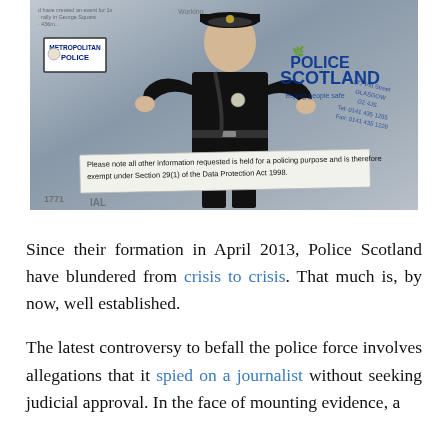[Figure (photo): A man dressed in a black police uniform with his hands raised in a shrug gesture, standing in front of documents showing Metropolitan Police and Police Scotland logos, with a notice about data protection at the bottom of the image.]
Since their formation in April 2013, Police Scotland have blundered from crisis to crisis. That much is, by now, well established.
The latest controversy to befall the police force involves allegations that it spied on a journalist without seeking judicial approval. In the face of mounting evidence, a